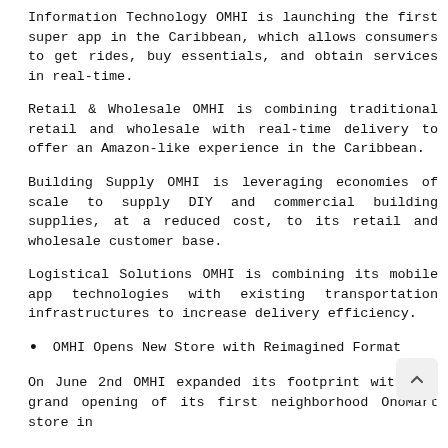Information Technology OMHI is launching the first super app in the Caribbean, which allows consumers to get rides, buy essentials, and obtain services in real-time.
Retail & Wholesale OMHI is combining traditional retail and wholesale with real-time delivery to offer an Amazon-like experience in the Caribbean.
Building Supply OMHI is leveraging economies of scale to supply DIY and commercial building supplies, at a reduced cost, to its retail and wholesale customer base.
Logistical Solutions OMHI is combining its mobile app technologies with existing transportation infrastructures to increase delivery efficiency.
OMHI Opens New Store with Reimagined Format
On June 2nd OMHI expanded its footprint with the grand opening of its first neighborhood OnoMart store in